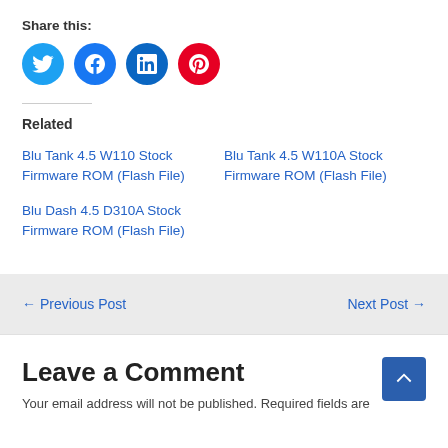Share this:
[Figure (illustration): Four circular social media share icons: Twitter (blue), Facebook (dark blue), LinkedIn (dark blue), Pinterest (red)]
Related
Blu Tank 4.5 W110 Stock Firmware ROM (Flash File)
Blu Tank 4.5 W110A Stock Firmware ROM (Flash File)
Blu Dash 4.5 D310A Stock Firmware ROM (Flash File)
← Previous Post
Next Post →
Leave a Comment
Your email address will not be published. Required fields are